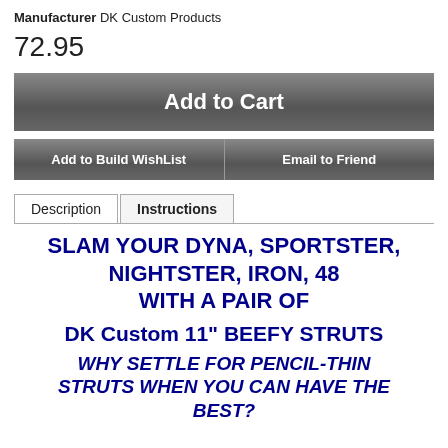Manufacturer DK Custom Products
72.95
Add to Cart
Add to Build WishList
Email to Friend
Description | Instructions
SLAM YOUR DYNA, SPORTSTER, NIGHTSTER, IRON, 48 WITH A PAIR OF
DK Custom 11" BEEFY STRUTS
WHY SETTLE FOR PENCIL-THIN STRUTS WHEN YOU CAN HAVE THE BEST?